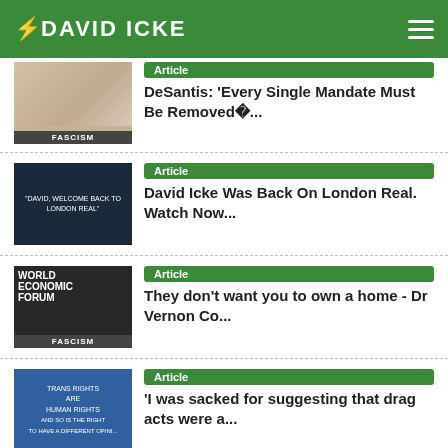DAVID ICKE
[Figure (screenshot): Article thumbnail - fascism arm image with FASCISM label]
Article
DeSantis: 'Every Single Mandate Must Be Removed�...
[Figure (screenshot): Article thumbnail - David, Welcome Back To London Real image]
Article
David Icke Was Back On London Real. Watch Now...
[Figure (screenshot): Article thumbnail - World Economic Forum FASCISM image]
Article
They don't want you to own a home - Dr Vernon Co...
[Figure (screenshot): Article thumbnail - Trans Rights Human Rights protest sign]
Article
'I was sacked for suggesting that drag acts were a...
[Figure (screenshot): Article thumbnail - The Trap book cover]
Article
The Trap – The Brand New Book By...